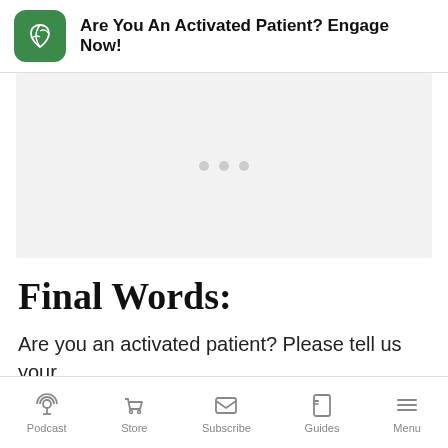Are You An Activated Patient? Engage Now!
[Figure (photo): Light grey placeholder image area with three small grey dots centered, indicating a slideshow or loading image carousel]
Final Words:
Are you an activated patient? Please tell us your
Podcast  Store  Subscribe  Guides  Menu